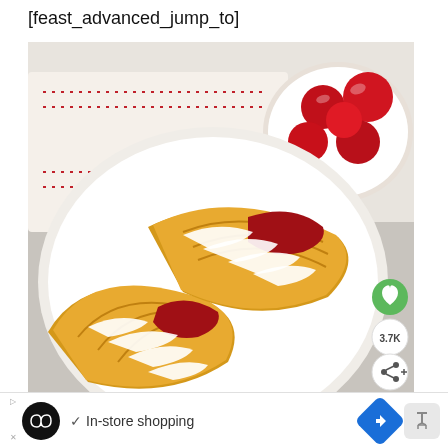[feast_advanced_jump_to]
[Figure (photo): Overhead photo of cherry turnovers with white icing drizzle on a white plate, alongside a bowl of fresh red cherries on a white cloth with red stitching]
3.7K
In-store shopping